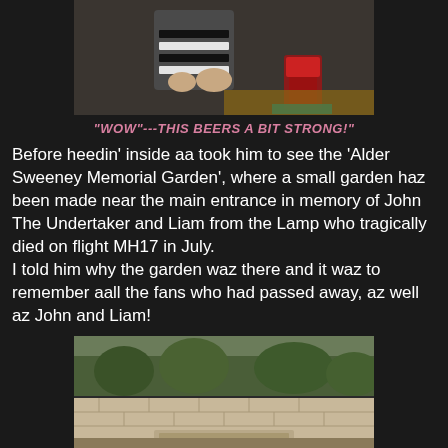[Figure (photo): Top portion of a photo showing a person in a black and white striped shirt with a red drink in a glass on a wooden table]
"WOW"---THIS BEERS A BIT STRONG!"
Before heedin' inside aa took him to see the 'Alder Sweeney Memorial Garden', where a small garden haz been made near the main entrance in memory of John The Undertaker and Liam from the Lamp who tragically died on flight MH17 in July.
I told him why the garden waz there and it waz to remember aall the fans who had passed away, az well az John and Liam!
[Figure (photo): Bottom portion showing a memorial garden with a stone wall/bench and trees in the background]